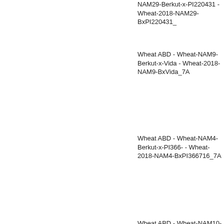NAM29-Berkut-x-PI220431 - Wheat-2018-NAM29-BxPI220431_7A
Wheat ABD - Wheat-NAM9-Berkut-x-Vida - Wheat-2018-NAM9-BxVida_7A
Wheat ABD - Wheat-NAM4-Berkut-x-PI366716 - Wheat-2018-NAM4-BxPI366716_7A
Wheat ABD - Wheat-NAM10-Berkut-x-PI9791 - Wheat-2018-NAM10-BxPI9791_7A
Wheat ABD - Wheat-NAM2-Berkut-x-PI572692 - Wheat-2018-NAM2-BxPI572692_7A
Wheat ABD - Wheat-NAM5-Berkut-x-PI382150 - Wheat-2018-NAM5-BxPI382150_7A
Wheat ABD - Wheat-NAM12-Berkut-x-Cltr11223 - Wheat-2018-NAM12-BxCltr11223_
SpringWheatNAM_tag_12636-7A
locus   1.4